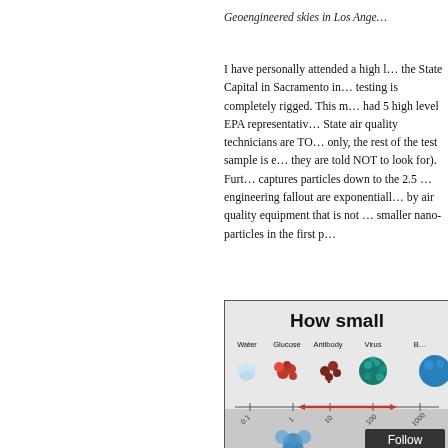Geoengineered skies in Los Ange…
I have personally attended a high level meeting at the State Capital in Sacramento in… testing is completely rigged. This m… had 5 high level EPA representative… State air quality technicians are TO… only, the rest of the test sample is e… they are told NOT to look for). Furt… captures particles down to the 2.5 … engineering fallout are exponentiall… by air quality equipment that is not … smaller nano-particles in the first p…
[Figure (infographic): Infographic titled 'How small…' showing size comparison of Water, Glucose, Antibody, Virus, and other particles with icons and a scale axis, partially cropped. A 'Follow' button overlay appears in the bottom right.]